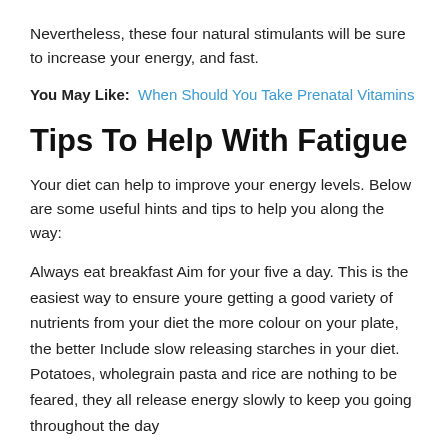Nevertheless, these four natural stimulants will be sure to increase your energy, and fast.
You May Like:  When Should You Take Prenatal Vitamins
Tips To Help With Fatigue
Your diet can help to improve your energy levels. Below are some useful hints and tips to help you along the way:
Always eat breakfast Aim for your five a day. This is the easiest way to ensure youre getting a good variety of nutrients from your diet the more colour on your plate, the better Include slow releasing starches in your diet. Potatoes, wholegrain pasta and rice are nothing to be feared, they all release energy slowly to keep you going throughout the day